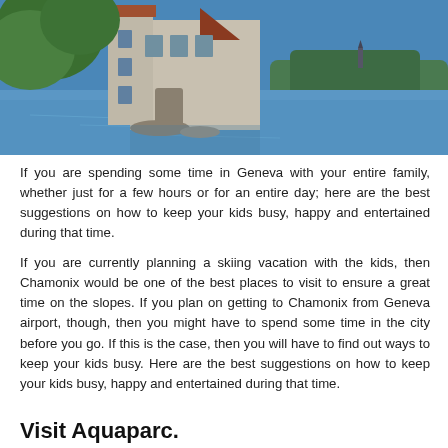[Figure (photo): A medieval stone castle on the edge of a lake with blue water, trees on both sides, and a clear blue sky.]
If you are spending some time in Geneva with your entire family, whether just for a few hours or for an entire day; here are the best suggestions on how to keep your kids busy, happy and entertained during that time.
If you are currently planning a skiing vacation with the kids, then Chamonix would be one of the best places to visit to ensure a great time on the slopes. If you plan on getting to Chamonix from Geneva airport, though, then you might have to spend some time in the city before you go. If this is the case, then you will have to find out ways to keep your kids busy. Here are the best suggestions on how to keep your kids busy, happy and entertained during that time.
Visit Aquaparc.